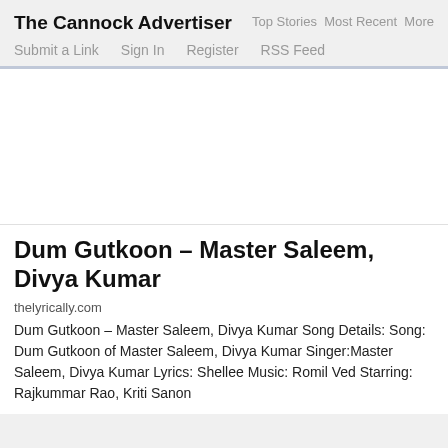The Cannock Advertiser
Top Stories   Most Recent   More
Submit a Link   Sign In   Register   RSS Feed
[Figure (other): White advertisement placeholder area]
Dum Gutkoon – Master Saleem, Divya Kumar
thelyrically.com
Dum Gutkoon – Master Saleem, Divya Kumar Song Details: Song: Dum Gutkoon of Master Saleem, Divya Kumar Singer:Master Saleem, Divya Kumar Lyrics: Shellee Music: Romil Ved Starring: Rajkummar Rao, Kriti Sanon